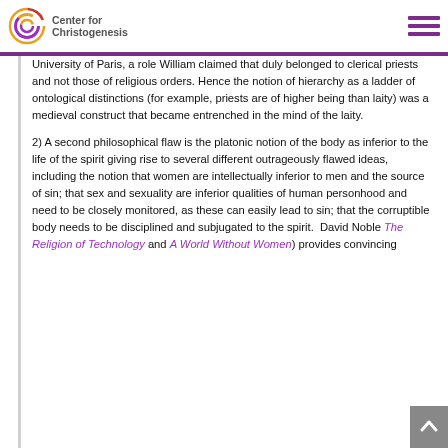Center for Christogenesis
University of Paris, a role William claimed that duly belonged to clerical priests and not those of religious orders. Hence the notion of hierarchy as a ladder of ontological distinctions (for example, priests are of higher being than laity) was a medieval construct that became entrenched in the mind of the laity.
2) A second philosophical flaw is the platonic notion of the body as inferior to the life of the spirit giving rise to several different outrageously flawed ideas, including the notion that women are intellectually inferior to men and the source of sin; that sex and sexuality are inferior qualities of human personhood and need to be closely monitored, as these can easily lead to sin; that the corruptible body needs to be disciplined and subjugated to the spirit.  David Noble The Religion of Technology and A World Without Women) provides convincing